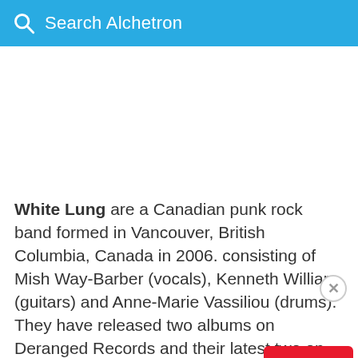Search Alchetron
White Lung are a Canadian punk rock band formed in Vancouver, British Columbia, Canada in 2006. consisting of Mish Way-Barber (vocals), Kenneth William (guitars) and Anne-Marie Vassiliou (drums). They have released two albums on Deranged Records and their latest two on Domino